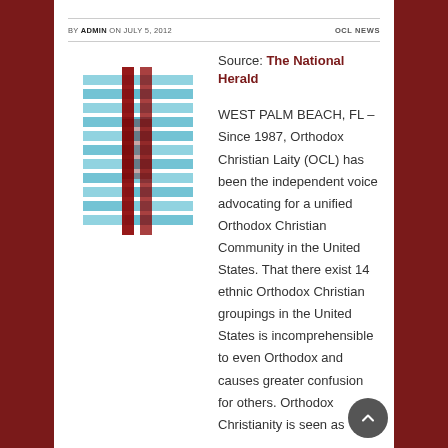BY ADMIN ON JULY 5, 2012   OCL NEWS
[Figure (logo): OCL (Orthodox Christian Laity) logo — a cross pattern made of overlapping blue and red rectangles arranged in a grid cross shape]
Source: The National Herald
WEST PALM BEACH, FL – Since 1987, Orthodox Christian Laity (OCL) has been the independent voice advocating for a unified Orthodox Christian Community in the United States. That there exist 14 ethnic Orthodox Christian groupings in the United States is incomprehensible to even Orthodox and causes greater confusion for others. Orthodox Christianity is seen as